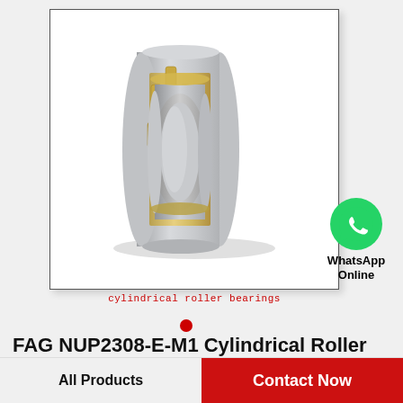[Figure (illustration): Cylindrical roller bearing (FAG NUP2308-E-M1) shown in 3D perspective with steel outer ring, brass cage, and cylindrical rollers visible. Product displayed in a white-bordered box.]
cylindrical roller bearings
[Figure (logo): WhatsApp green circle logo with phone handset icon, labeled 'WhatsApp Online']
FAG NUP2308-E-M1 Cylindrical Roller Bearings
All Products
Contact Now